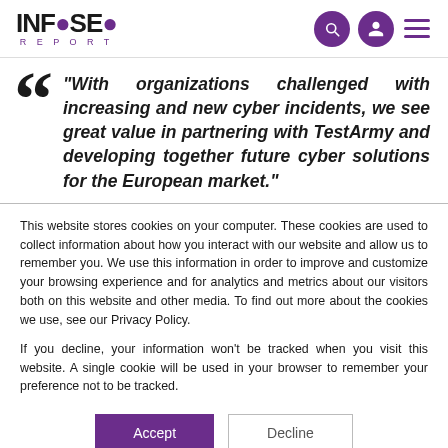INFOSEC REPORT
"With organizations challenged with increasing and new cyber incidents, we see great value in partnering with TestArmy and developing together future cyber solutions for the European market."
This website stores cookies on your computer. These cookies are used to collect information about how you interact with our website and allow us to remember you. We use this information in order to improve and customize your browsing experience and for analytics and metrics about our visitors both on this website and other media. To find out more about the cookies we use, see our Privacy Policy.
If you decline, your information won't be tracked when you visit this website. A single cookie will be used in your browser to remember your preference not to be tracked.
Accept   Decline